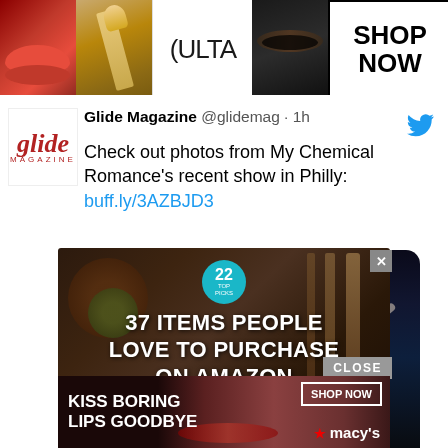[Figure (photo): ULTA beauty advertisement banner showing makeup/cosmetics imagery with 'SHOP NOW' text]
[Figure (screenshot): Tweet from Glide Magazine (@glidemag) 1h ago: 'Check out photos from My Chemical Romance's recent show in Philly: buff.ly/3AZBJD3' with concert photo showing band members performing on stage]
[Figure (photo): Advertisement: '37 ITEMS PEOPLE LOVE TO PURCHASE ON AMAZON' with food/kitchen items imagery and teal badge showing '22']
[Figure (photo): Macy's advertisement: 'KISS BORING LIPS GOODBYE' with 'SHOP NOW' button and Macy's star logo]